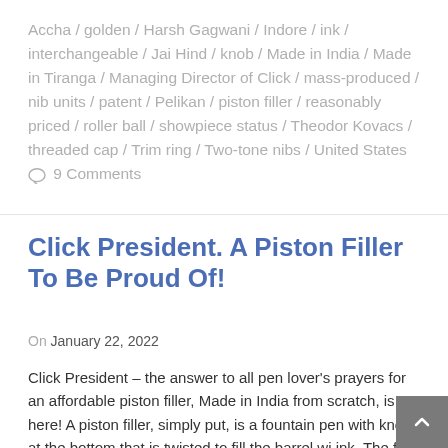Accha / golden / Harsh Gagwani / Indore / ink / interchangeable / Jai Hind / knob / Made in India / Made in Tiranga / Managing Director of Click / mass-produced / nib units / patent / Pelikan / piston filler / reasonably priced / roller ball / showpiece status / Theodor Kovacs / threaded cap / Trim ring / Two-tone nibs / United States  💬 9 Comments
Click President. A Piston Filler To Be Proud Of!
On January 22, 2022
Click President – the answer to all pen lover's prayers for an affordable piston filler, Made in India from scratch, is here! A piston filler, simply put, is a fountain pen with knob at the bottom that is twisted to fill the barrel wi ink. The first piston fillers